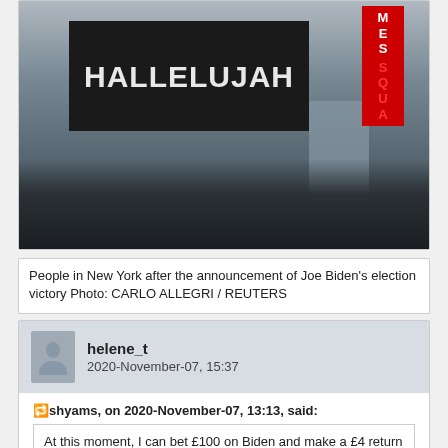[Figure (photo): People in New York holding a sign that reads HALLELUJAH, with a Times Square billboard visible in the background. Taken after the announcement of Joe Biden's election victory.]
People in New York after the announcement of Joe Biden's election victory Photo: CARLO ALLEGRI / REUTERS
helene_t
2020-November-07, 15:37
shyams, on 2020-November-07, 13:13, said:
At this moment, I can bet £100 on Biden and make a £4 return on it.
I would expect that each market has its own definitions of what it means that "Biden won" for payout purposes. Odds 104 that the EC